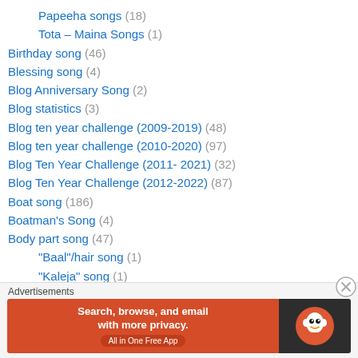Papeeha songs (18)
Tota – Maina Songs (1)
Birthday song (46)
Blessing song (4)
Blog Anniversary Song (2)
Blog statistics (3)
Blog ten year challenge (2009-2019) (48)
Blog ten year challenge (2010-2020) (97)
Blog Ten Year Challenge (2011- 2021) (32)
Blog Ten Year Challenge (2012-2022) (87)
Boat song (186)
Boatman's Song (4)
Body part song (47)
"Baal"/hair song (1)
"Kaleja" song (1)
"Kamar" song (1)
[Figure (screenshot): DuckDuckGo advertisement banner: orange background with text 'Search, browse, and email with more privacy. All in One Free App' and DuckDuckGo duck logo on dark background]